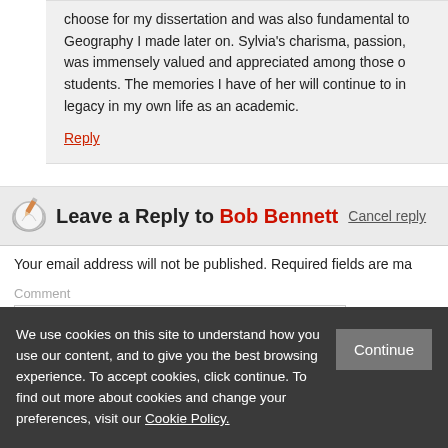choose for my dissertation and was also fundamental to the move into Geography I made later on. Sylvia's charisma, passion, was immensely valued and appreciated among those of her students. The memories I have of her will continue to inspire her legacy in my own life as an academic.
Reply
Leave a Reply to Bob Bennett  Cancel reply
Your email address will not be published. Required fields are ma
Comment
We use cookies on this site to understand how you use our content, and to give you the best browsing experience. To accept cookies, click continue. To find out more about cookies and change your preferences, visit our Cookie Policy.